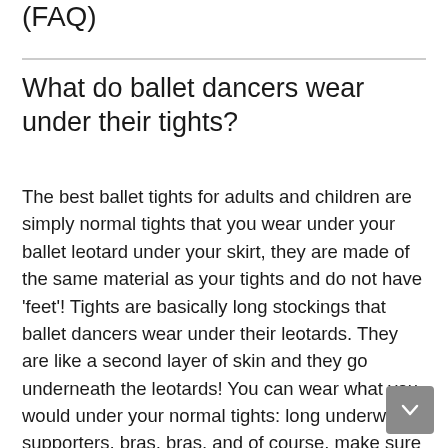(FAQ)
What do ballet dancers wear under their tights?
The best ballet tights for adults and children are simply normal tights that you wear under your ballet leotard under your skirt, they are made of the same material as your tights and do not have 'feet'! Tights are basically long stockings that ballet dancers wear under their leotards. They are like a second layer of skin and they go underneath the leotards! You can wear what you would under your normal tights: long underwear, supporters, bras, bras, and of course, make sure you wear some tight-fitting socks (with grip!) just above your ankle.